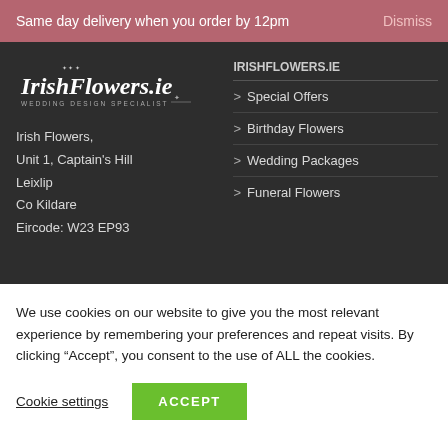Same day delivery when you order by 12pm Dismiss
[Figure (logo): IrishFlowers.ie - Wedding Design Specialist logo in white text on dark background]
IRISHFLOWERS.IE
> Special Offers
Irish Flowers, Unit 1, Captain's Hill Leixlip Co Kildare Eircode: W23 EP93
> Birthday Flowers
> Wedding Packages
> Funeral Flowers
We use cookies on our website to give you the most relevant experience by remembering your preferences and repeat visits. By clicking “Accept”, you consent to the use of ALL the cookies.
Cookie settings
ACCEPT